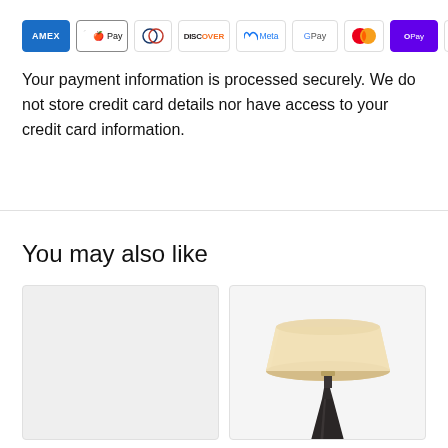[Figure (infographic): Payment method icons: AMEX, Apple Pay, Diners Club, Discover, Meta, Google Pay, Mastercard, OPay, VISA]
Your payment information is processed securely. We do not store credit card details nor have access to your credit card information.
You may also like
[Figure (photo): Two product cards side by side. Left card is empty/placeholder. Right card shows a table lamp with a large cream/beige drum shade and dark metallic base, partially cropped.]